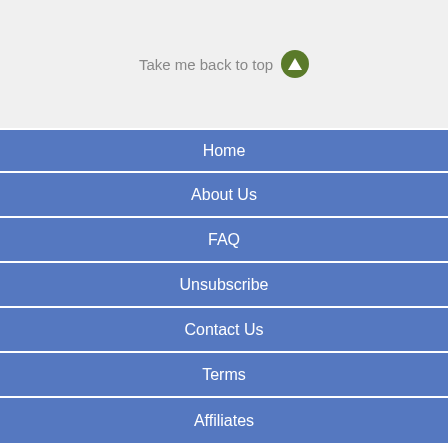Take me back to top
Home
About Us
FAQ
Unsubscribe
Contact Us
Terms
Affiliates